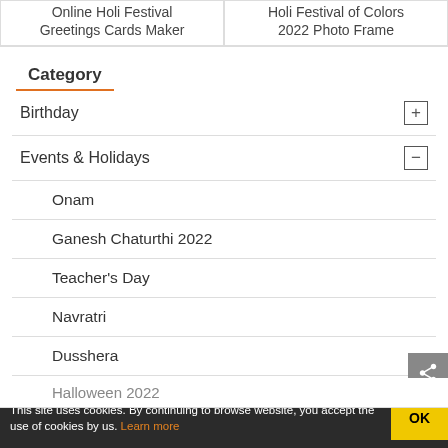Online Holi Festival Greetings Cards Maker
Holi Festival of Colors 2022 Photo Frame
Category
Birthday
Events & Holidays
Onam
Ganesh Chaturthi 2022
Teacher's Day
Navratri
Dusshera
Milad un Nabi
Halloween 2022
This site uses cookies. By continuing to browse website, you accept the use of cookies by us. Learn more